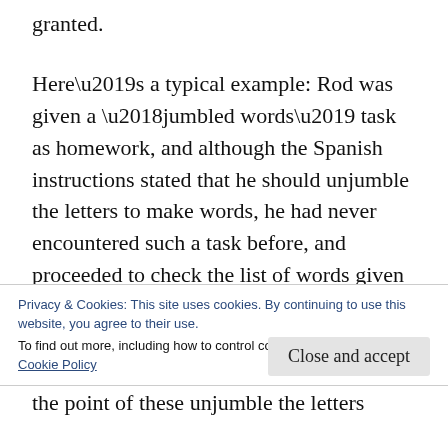granted.
Here’s a typical example: Rod was given a ‘jumbled words’ task as homework, and although the Spanish instructions stated that he should unjumble the letters to make words, he had never encountered such a task before, and proceeded to check the list of words given in a dictionary. They, of course, weren’t really words as such, and when he couldn’t find ‘afec’ (cafe) or ‘uqaotn’
Privacy & Cookies: This site uses cookies. By continuing to use this website, you agree to their use.
To find out more, including how to control cookies, see here:
Cookie Policy
Close and accept
the point of these unjumble the letters